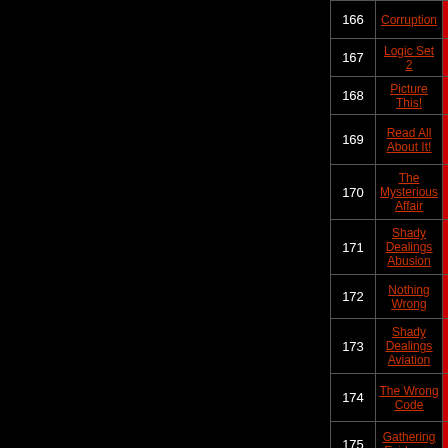| # | Name | Status |
| --- | --- | --- |
| 166 | Corruption | unsolved |
| 167 | Logic Set 2 | unsolved |
| 168 | Picture This! | unsolved |
| 169 | Read All About It! | unsolved |
| 170 | The Mysterious Affair | unsolved |
| 171 | Shady Dealings Abusion | unsolved |
| 172 | Nothing Wrong | unsolved |
| 173 | Shady Dealings Aviation | unsolved |
| 174 | The Wrong Code | unsolved |
| 175 | Gathering Evidence | unsolved |